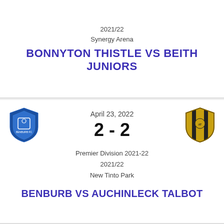2021/22
Synergy Arena
BONNYTON THISTLE VS BEITH JUNIORS
[Figure (logo): Benburb FC badge - blue shield crest]
April 23, 2022
2 - 2
[Figure (logo): Auchinleck Talbot FC badge - gold and black stripes crest]
Premier Division 2021-22
2021/22
New Tinto Park
BENBURB VS AUCHINLECK TALBOT
[Figure (logo): Left team badge - gold circular crest with ship]
April 23, 2022
1 - 0
[Figure (logo): Right team badge - blue shield crest]
Premier Division 2021-22
2021/22
Benfield Park